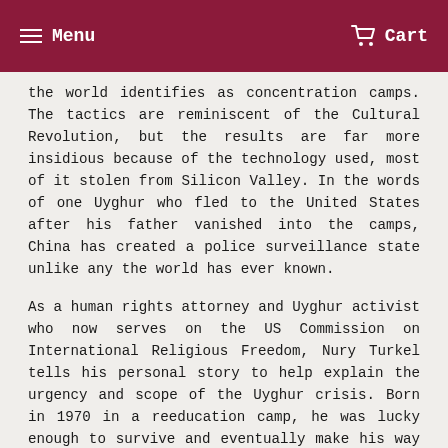Menu   Cart
the world identifies as concentration camps. The tactics are reminiscent of the Cultural Revolution, but the results are far more insidious because of the technology used, most of it stolen from Silicon Valley. In the words of one Uyghur who fled to the United States after his father vanished into the camps, China has created a police surveillance state unlike any the world has ever known.
As a human rights attorney and Uyghur activist who now serves on the US Commission on International Religious Freedom, Nury Turkel tells his personal story to help explain the urgency and scope of the Uyghur crisis. Born in 1970 in a reeducation camp, he was lucky enough to survive and eventually make his way to the US, where he became the first Uyghur to receive an American law degree. Since then he has worked as a lawyer, activist, and spokesperson for his people.
The Uyghur crisis is turning into the greatest human rights